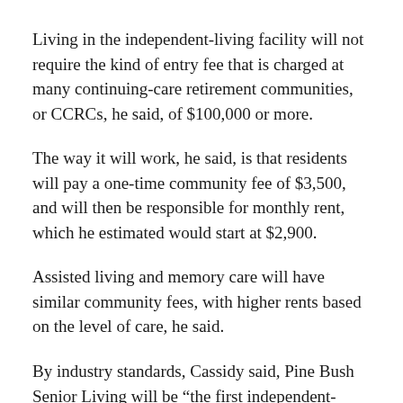Living in the independent-living facility will not require the kind of entry fee that is charged at many continuing-care retirement communities, or CCRCs, he said, of $100,000 or more.
The way it will work, he said, is that residents will pay a one-time community fee of $3,500, and will then be responsible for monthly rent, which he estimated would start at $2,900.
Assisted living and memory care will have similar community fees, with higher rents based on the level of care, he said.
By industry standards, Cassidy said, Pine Bush Senior Living will be “the first independent-living rental community that isn’t a CCRC in our area.”